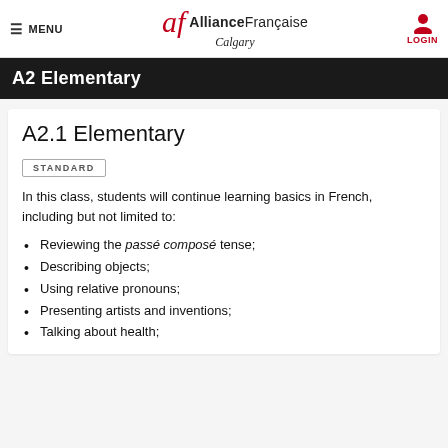MENU — Alliance Française Calgary — LOGIN
A2 Elementary
A2.1 Elementary
STANDARD
In this class, students will continue learning basics in French, including but not limited to:
Reviewing the passé composé tense;
Describing objects;
Using relative pronouns;
Presenting artists and inventions;
Talking about health;